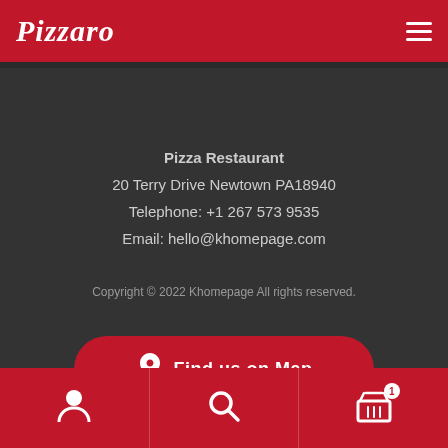Pizzaro
Pizza Restaurant
20 Terry Drive Newtown PA18940
Telephone: +1 267 573 9535
Email: hello@khomepage.com
Copyright © 2022 Khomepage All rights reserved.
Find us on Map
Navigation bar with user, search, and basket icons